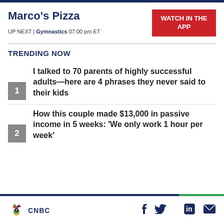Marco's Pizza
UP NEXT | Gymnastics 07:00 pm ET
WATCH IN THE APP
TRENDING NOW
I talked to 70 parents of highly successful adults—here are 4 phrases they never said to their kids
How this couple made $13,000 in passive income in 5 weeks: 'We only work 1 hour per week'
CNBC